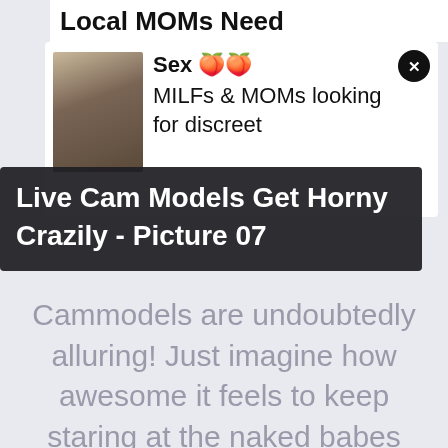[Figure (screenshot): Top banner showing partial text 'Local MOMs Need']
[Figure (screenshot): White notification card with thumbnail photo of a woman, bold title 'Sex 🍑🍑', body text 'MILFs & MOMs looking for discreet', and a close button (X)]
Live Cam Models Get Horny Crazily - Picture 07
Cammodels are undoubtedly alluring! Just imagine how awesome it feels to keep staring at the naked babes